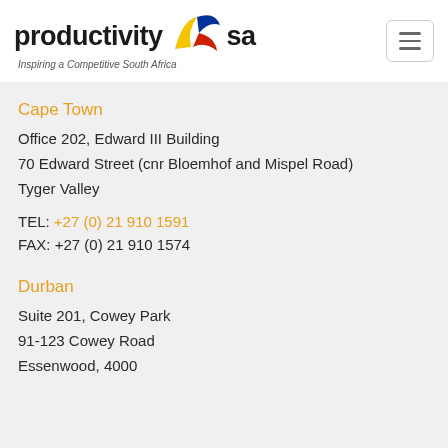[Figure (logo): Productivity SA logo with colorful bird/flame icon and tagline 'Inspiring a Competitive South Africa']
Cape Town
Office 202, Edward III Building
70 Edward Street (cnr Bloemhof and Mispel Road)
Tyger Valley
TEL: +27 (0) 21 910 1591
FAX: +27 (0) 21 910 1574
Durban
Suite 201, Cowey Park
91-123 Cowey Road
Essenwood, 4000